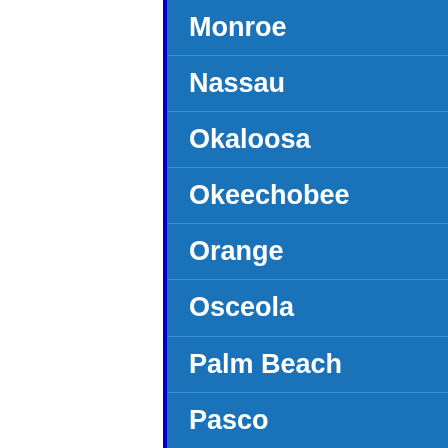Monroe
Nassau
Okaloosa
Okeechobee
Orange
Osceola
Palm Beach
Pasco
Pinellas
Polk